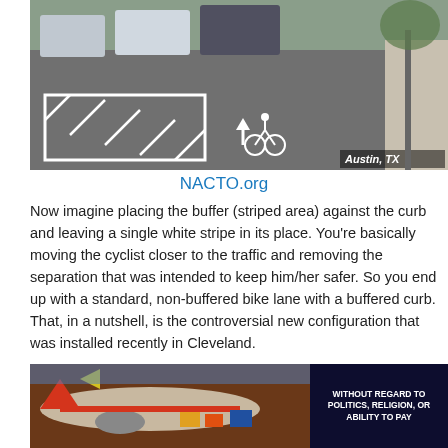[Figure (photo): Street photo showing a buffered bike lane with white painted stripes and bicycle symbol on pavement. Cars visible in background. Label 'Austin, TX' in bottom right corner.]
NACTO.org
Now imagine placing the buffer (striped area) against the curb and leaving a single white stripe in its place. You're basically moving the cyclist closer to the traffic and removing the separation that was intended to keep him/her safer. So you end up with a standard, non-buffered bike lane with a buffered curb. That, in a nutshell, is the controversial new configuration that was installed recently in Cleveland.
[Figure (photo): Advertisement banner showing an airplane being loaded with cargo, with text overlay reading 'WITHOUT REGARD TO POLITICS, RELIGION, OR ABILITY TO PAY' on dark background.]